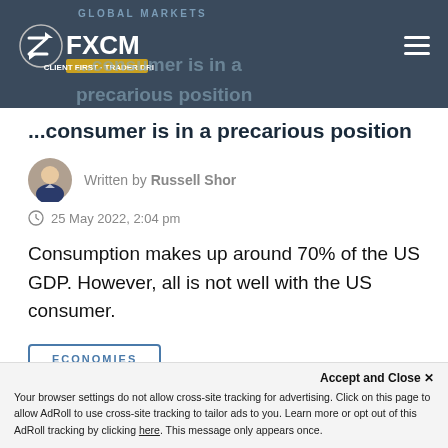GLOBAL MARKETS
[Figure (logo): FXCM logo with tagline CLIENT FIRST · TRADER DRIVEN]
...the US consumer is in a precarious position
Written by Russell Shor
25 May 2022, 2:04 pm
Consumption makes up around 70% of the US GDP. However, all is not well with the US consumer.
ECONOMIES
Accept and Close ×
Your browser settings do not allow cross-site tracking for advertising. Click on this page to allow AdRoll to use cross-site tracking to tailor ads to you. Learn more or opt out of this AdRoll tracking by clicking here. This message only appears once.